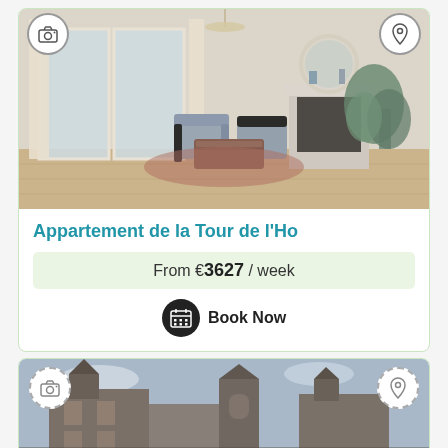[Figure (photo): Interior photo of a Parisian-style apartment living room with large windows, mid-century modern chairs, a coffee table, fireplace, round mirror, and large houseplants.]
Appartement de la Tour de l'Ho
From €3627 / week
Book Now
[Figure (photo): Exterior photo of a historic stone building / medieval architecture with towers and old stone walls.]